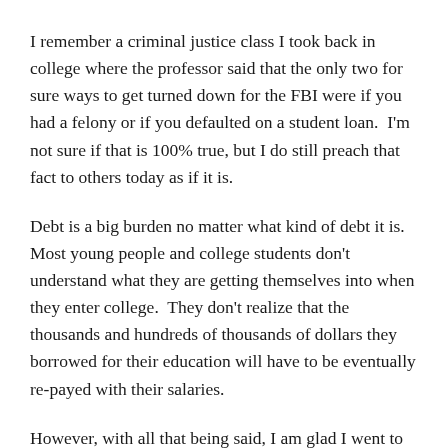I remember a criminal justice class I took back in college where the professor said that the only two for sure ways to get turned down for the FBI were if you had a felony or if you defaulted on a student loan.  I'm not sure if that is 100% true, but I do still preach that fact to others today as if it is.
Debt is a big burden no matter what kind of debt it is.  Most young people and college students don't understand what they are getting themselves into when they enter college.  They don't realize that the thousands and hundreds of thousands of dollars they borrowed for their education will have to be eventually re-payed with their salaries.
However, with all that being said, I am glad I went to